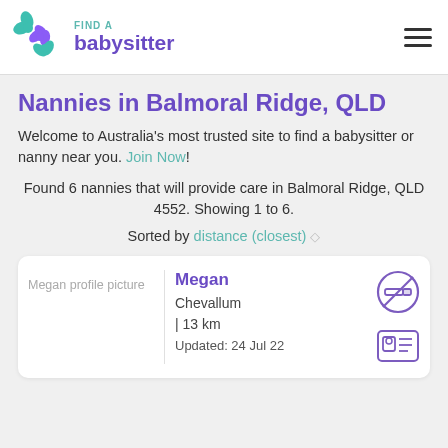FIND A babysitter
Nannies in Balmoral Ridge, QLD
Welcome to Australia's most trusted site to find a babysitter or nanny near you. Join Now!
Found 6 nannies that will provide care in Balmoral Ridge, QLD 4552. Showing 1 to 6.
Sorted by distance (closest)
[Figure (other): Profile card for Megan showing photo placeholder, name, location Chevallum, 13 km, updated 24 Jul 22, no-smoking icon, and ID card icon]